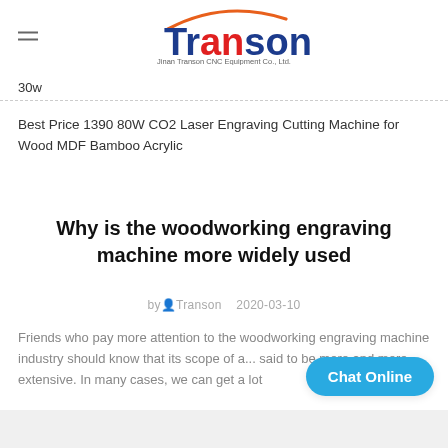Transon — Jinan Transon CNC Equipment Co., Ltd.
30w
Best Price 1390 80W CO2 Laser Engraving Cutting Machine for Wood MDF Bamboo Acrylic
Why is the woodworking engraving machine more widely used
by Transon  2020-03-10
Friends who pay more attention to the woodworking engraving machine industry should know that its scope of a... said to be more and more extensive. In many cases, we can get a lot